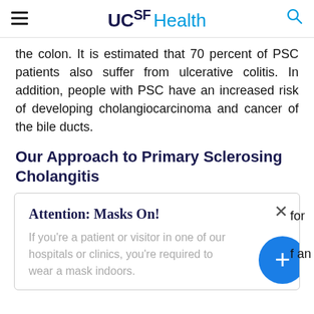UCSF Health
the colon. It is estimated that 70 percent of PSC patients also suffer from ulcerative colitis. In addition, people with PSC have an increased risk of developing cholangiocarcinoma and cancer of the bile ducts.
Our Approach to Primary Sclerosing Cholangitis
Attention: Masks On!
If you're a patient or visitor in one of our hospitals or clinics, you're required to wear a mask indoors.